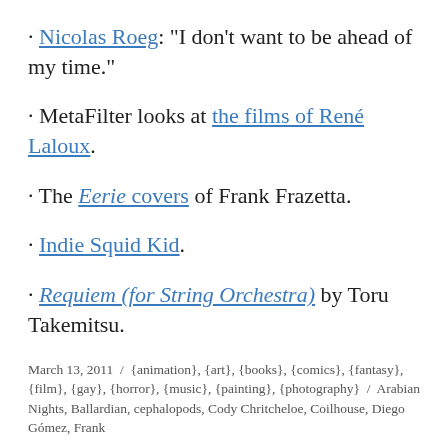· Nicolas Roeg: “I don’t want to be ahead of my time.”
· MetaFilter looks at the films of René Laloux.
· The Eerie covers of Frank Frazetta.
· Indie Squid Kid.
· Requiem (for String Orchestra) by Toru Takemitsu.
March 13, 2011 / {animation}, {art}, {books}, {comics}, {fantasy}, {film}, {gay}, {horror}, {music}, {painting}, {photography} / Arabian Nights, Ballardian, cephalopods, Cody Chritcheloe, Coilhouse, Diego Gómez, Frank